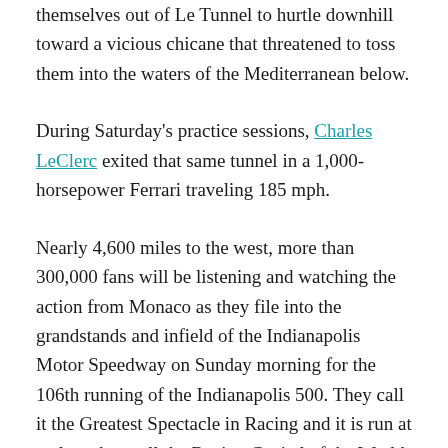themselves out of Le Tunnel to hurtle downhill toward a vicious chicane that threatened to toss them into the waters of the Mediterranean below.
During Saturday's practice sessions, Charles LeClerc exited that same tunnel in a 1,000-horsepower Ferrari traveling 185 mph.
Nearly 4,600 miles to the west, more than 300,000 fans will be listening and watching the action from Monaco as they file into the grandstands and infield of the Indianapolis Motor Speedway on Sunday morning for the 106th running of the Indianapolis 500. They call it the Greatest Spectacle in Racing and it is run at a place they call the Racing Capital of the World, and there is zero hyperbole involved in either one of those titles. The place known simply as “The Speedway” opened in 1909 with a ball...